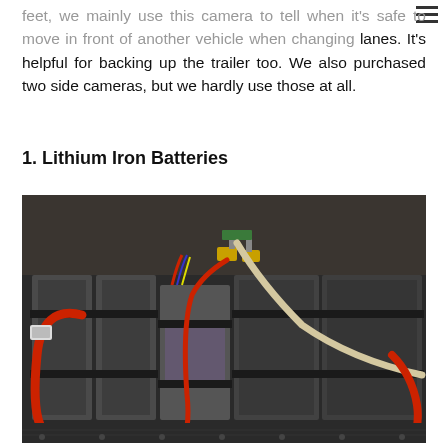feet, we mainly use this camera to tell when it's safe to move in front of another vehicle when changing lanes. It's helpful for backing up the trailer too. We also purchased two side cameras, but we hardly use those at all.
1. Lithium Iron Batteries
[Figure (photo): Photo of lithium iron batteries installed in a compartment, showing large rectangular battery cells with red and white cables/wiring connected to terminals at the top, strapped in with black straps on a diamond-plate floor.]